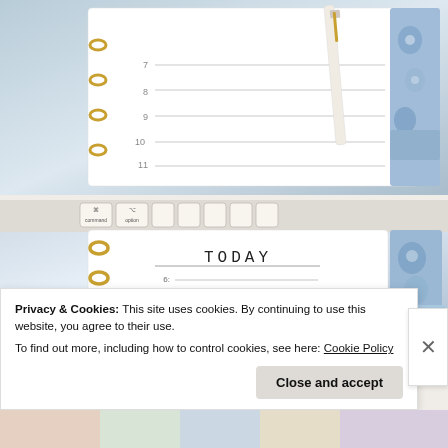[Figure (photo): Top photo showing a blue leather planner/organizer with gold rings, lined daily planner pages, a pen, and a floral patterned tab divider on a light background]
[Figure (photo): Bottom photo showing a blue leather planner open to a TODAY daily schedule page with hours 6-11 listed, gold rings visible on left side, floral tab divider on right, with a computer keyboard visible at top]
Privacy & Cookies: This site uses cookies. By continuing to use this website, you agree to their use.
To find out more, including how to control cookies, see here: Cookie Policy
Close and accept